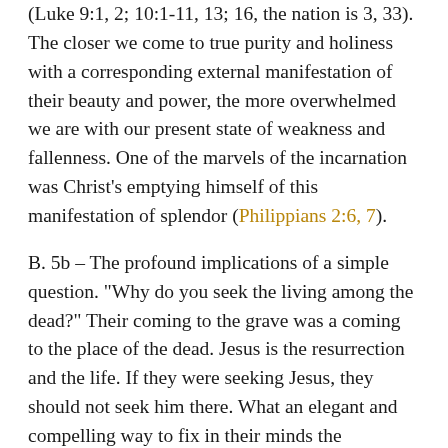(Luke 9:1, 2; 10:1-11, 13; 16, the nation is 3, 33). The closer we come to true purity and holiness with a corresponding external manifestation of their beauty and power, the more overwhelmed we are with our present state of weakness and fallenness. One of the marvels of the incarnation was Christ’s emptying himself of this manifestation of splendor (Philippians 2:6, 7).
B. 5b – The profound implications of a simple question. “Why do you seek the living among the dead?” Their coming to the grave was a coming to the place of the dead. Jesus is the resurrection and the life. If they were seeking Jesus, they should not seek him there. What an elegant and compelling way to fix in their minds the importance of the coming proclamation. The question itself has no rational answer, for they could give no reason why it was at all acceptable to